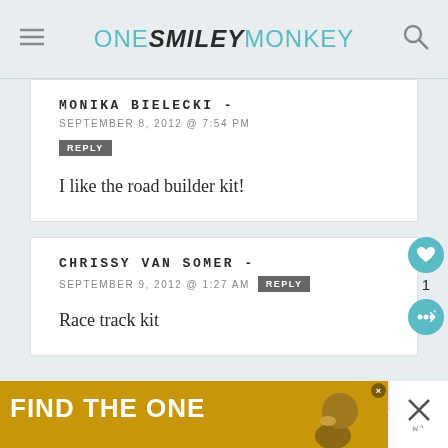ONE SMILEY MONKEY
MONIKA BIELECKI -
SEPTEMBER 8, 2012 @ 7:54 PM
REPLY
I like the road builder kit!
CHRISSY VAN SOMER -
SEPTEMBER 9, 2012 @ 1:27 AM
REPLY
Race track kit
[Figure (other): Ad banner: FIND THE ONE with dog image]